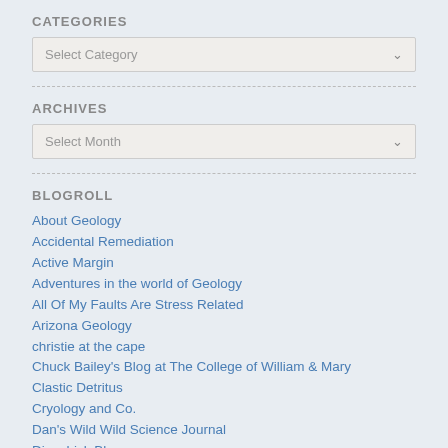CATEGORIES
Select Category
ARCHIVES
Select Month
BLOGROLL
About Geology
Accidental Remediation
Active Margin
Adventures in the world of Geology
All Of My Faults Are Stress Related
Arizona Geology
christie at the cape
Chuck Bailey's Blog at The College of William & Mary
Clastic Detritus
Cryology and Co.
Dan's Wild Wild Science Journal
Dinochick Blogs
Earth Insight Cache
Eruptions